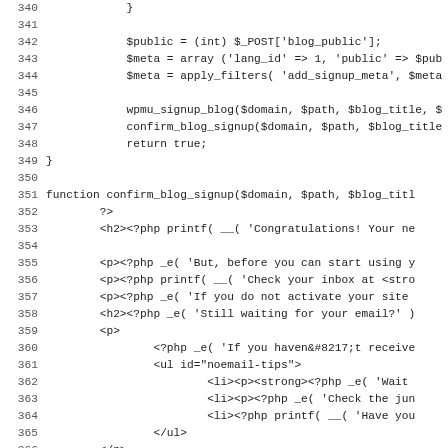[Figure (screenshot): Source code listing showing PHP code lines 340-371, including functions for blog signup and confirm_blog_signup with HTML output embedded in PHP.]